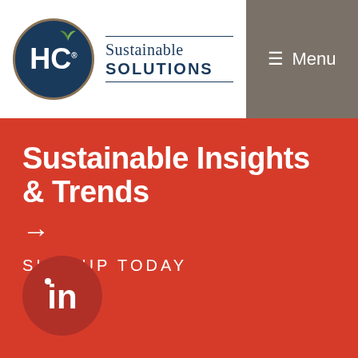[Figure (logo): HC Sustainable Solutions logo — dark blue circle with HC text and small green leaves above, beside text 'Sustainable SOLUTIONS' in navy with horizontal rules]
≡ Menu
Sustainable Insights & Trends
→
SIGN UP TODAY
[Figure (logo): LinkedIn 'in' logo in a dark red circle]